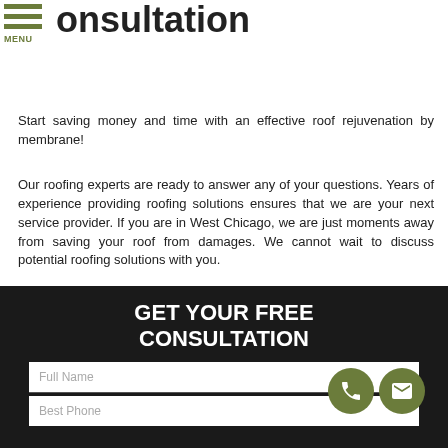MENU
onsultation
Start saving money and time with an effective roof rejuvenation by membrane!
Our roofing experts are ready to answer any of your questions. Years of experience providing roofing solutions ensures that we are your next service provider. If you are in West Chicago, we are just moments away from saving your roof from damages. We cannot wait to discuss potential roofing solutions with you.
For a Free Consultation, call us today at (630) 403-8944.
GET YOUR FREE CONSULTATION
Full Name
Best Phone